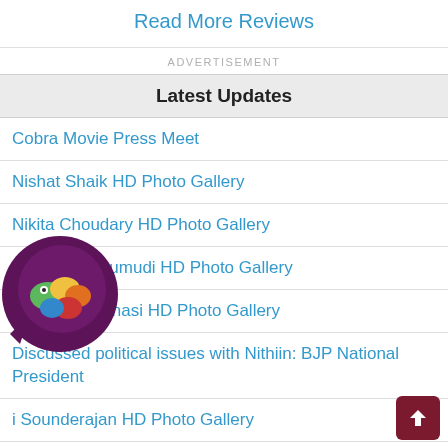Read More Reviews
ADVERTISEMENT
Latest Updates
Cobra Movie Press Meet
Nishat Shaik HD Photo Gallery
Nikita Choudary HD Photo Gallery
Kusuma Penumudi HD Photo Gallery
Manasa Varanasi HD Photo Gallery
Discussed political issues with Nithiin: BJP National President
i Sounderajan HD Photo Gallery
'Karthikeya 2' has made Nikhil nationally popular: Makers @ Rs 100 crore event
Ashu Reddy HD Photo Gallery
[Figure (logo): App icon with colorful worm/caterpillar on dark purple circular background]